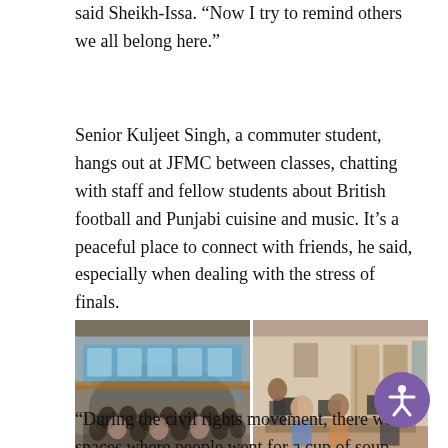said Sheikh-Issa. “Now I try to remind others we all belong here.”
Senior Kuljeet Singh, a commuter student, hangs out at JFMC between classes, chatting with staff and fellow students about British football and Punjabi cuisine and music. It’s a peaceful place to connect with friends, he said, especially when dealing with the stress of finals.
[Figure (photo): Large group of diverse students posing in front of a blue and white bus next to a brick wall.]
[Figure (photo): Students sitting and working at computers in an office or center setting, with staff member standing nearby.]
“During the civil rights movement, there were spaces where people went for a cup of soup and to